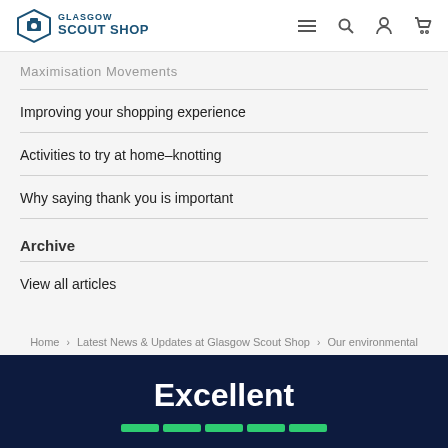Glasgow Scout Shop
Maximisation Movements
Improving your shopping experience
Activities to try at home–knotting
Why saying thank you is important
Archive
View all articles
Home > Latest News & Updates at Glasgow Scout Shop > Our environmental footprint & better communications.
Excellent